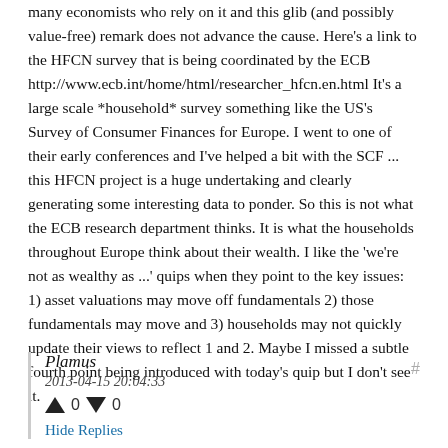many economists who rely on it and this glib (and possibly value-free) remark does not advance the cause. Here's a link to the HFCN survey that is being coordinated by the ECB http://www.ecb.int/home/html/researcher_hfcn.en.html It's a large scale *household* survey something like the US's Survey of Consumer Finances for Europe. I went to one of their early conferences and I've helped a bit with the SCF ... this HFCN project is a huge undertaking and clearly generating some interesting data to ponder. So this is not what the ECB research department thinks. It is what the households throughout Europe think about their wealth. I like the 'we're not as wealthy as ...' quips when they point to the key issues: 1) asset valuations may move off fundamentals 2) those fundamentals may move and 3) households may not quickly update their views to reflect 1 and 2. Maybe I missed a subtle fourth point being introduced with today's quip but I don't see it.
Plamus
2013-04-15 20:04:33
↑ 0 ↓ 0
Hide Replies